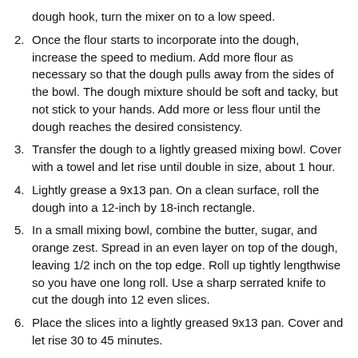dough hook, turn the mixer on to a low speed.
2. Once the flour starts to incorporate into the dough, increase the speed to medium. Add more flour as necessary so that the dough pulls away from the sides of the bowl. The dough mixture should be soft and tacky, but not stick to your hands. Add more or less flour until the dough reaches the desired consistency.
3. Transfer the dough to a lightly greased mixing bowl. Cover with a towel and let rise until double in size, about 1 hour.
4. Lightly grease a 9x13 pan. On a clean surface, roll the dough into a 12-inch by 18-inch rectangle.
5. In a small mixing bowl, combine the butter, sugar, and orange zest. Spread in an even layer on top of the dough, leaving 1/2 inch on the top edge. Roll up tightly lengthwise so you have one long roll. Use a sharp serrated knife to cut the dough into 12 even slices.
6. Place the slices into a lightly greased 9x13 pan. Cover and let rise 30 to 45 minutes.
7. Preheat oven to 350 degrees. Bake the rolls for about 20-25 minutes until light brown with a brown top.